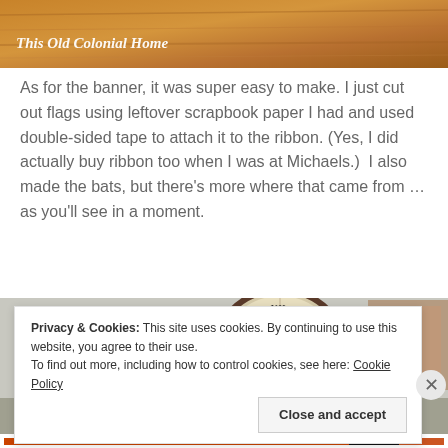[Figure (photo): Header image of wooden surface with text overlay reading 'This Old Colonial Home' in italic white text]
As for the banner, it was super easy to make. I just cut out flags using leftover scrapbook paper I had and used double-sided tape to attach it to the ribbon. (Yes, I did actually buy ribbon too when I was at Michaels.)  I also made the bats, but there's more where that came from … as you'll see in a moment.
[Figure (photo): Photo of Halloween mantel decoration with a large round vintage clock, an orange pumpkin, a candle, a black crow figure, and framed artwork]
Privacy & Cookies: This site uses cookies. By continuing to use this website, you agree to their use.
To find out more, including how to control cookies, see here: Cookie Policy
Close and accept